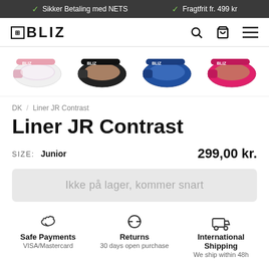Sikker Betaling med NETS | Fragtfrit fr. 499 kr
[Figure (logo): BLIZ brand logo with search, cart and hamburger menu icons]
[Figure (photo): Four product thumbnail images of Liner JR Contrast ski goggles in different colors: white/pink, black/brown, blue, pink/magenta]
DK / Liner JR Contrast
Liner JR Contrast
SIZE: Junior   299,00 kr.
Ikke på lager, kommer snart
Safe Payments
VISA/Mastercard
Returns
30 days open purchase
International Shipping
We ship within 48h